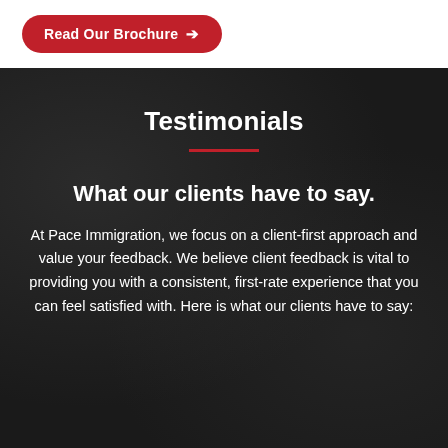[Figure (other): Red rounded button with text 'Read Our Brochure' and an arrow icon on white background]
Testimonials
What our clients have to say.
At Pace Immigration, we focus on a client-first approach and value your feedback. We believe client feedback is vital to providing you with a consistent, first-rate experience that you can feel satisfied with. Here is what our clients have to say: